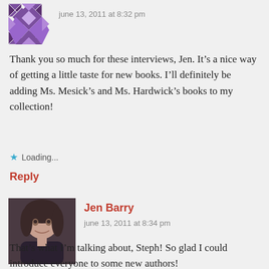[Figure (illustration): Purple geometric/quilt pattern avatar icon]
june 13, 2011 at 8:32 pm
Thank you so much for these interviews, Jen. It’s a nice way of getting a little taste for new books. I’ll definitely be adding Ms. Mesick’s and Ms. Hardwick’s books to my collection!
Loading...
Reply
[Figure (photo): Portrait photo of Jen Barry, a woman with dark hair smiling]
Jen Barry
june 13, 2011 at 8:34 pm
That’s what I’m talking about, Steph! So glad I could introduce everyone to some new authors!